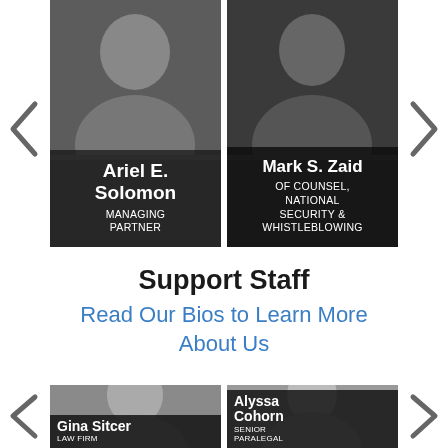[Figure (photo): Profile card for Ariel E. Solomon, Managing Partner, with photo and dark overlay text]
[Figure (photo): Profile card for Mark S. Zaid, Of Counsel, National Security & Whistleblowing, with dark background]
Support Staff
Read Our Bios to Learn More About Us
[Figure (photo): Profile card for Gina Sitcer, Law Firm Administrator, with professional photo]
[Figure (photo): Profile card for Alyssa Cohorn, Senior Paralegal Specialist, with photo and dark overlay]